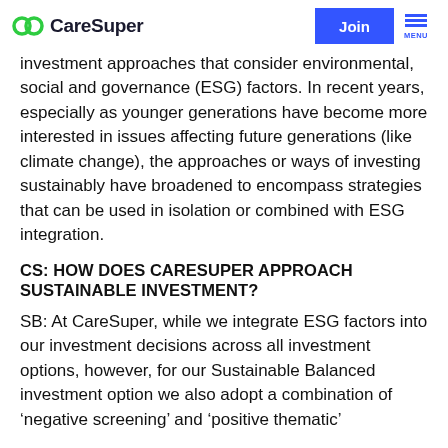CareSuper | Join | MENU
investment approaches that consider environmental, social and governance (ESG) factors. In recent years, especially as younger generations have become more interested in issues affecting future generations (like climate change), the approaches or ways of investing sustainably have broadened to encompass strategies that can be used in isolation or combined with ESG integration.
CS: HOW DOES CARESUPER APPROACH SUSTAINABLE INVESTMENT?
SB: At CareSuper, while we integrate ESG factors into our investment decisions across all investment options, however, for our Sustainable Balanced investment option we also adopt a combination of ‘negative screening’ and ‘positive thematic’